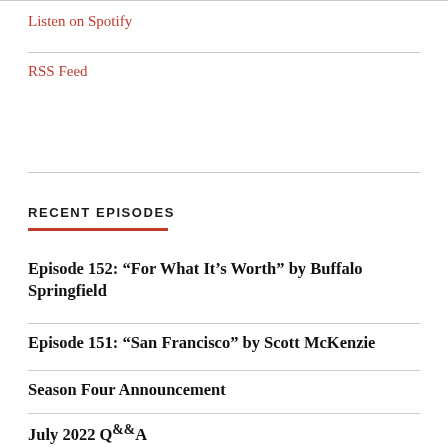Listen on Spotify
RSS Feed
RECENT EPISODES
Episode 152: “For What It’s Worth” by Buffalo Springfield
Episode 151: “San Francisco” by Scott McKenzie
Season Four Announcement
July 2022 Q&A